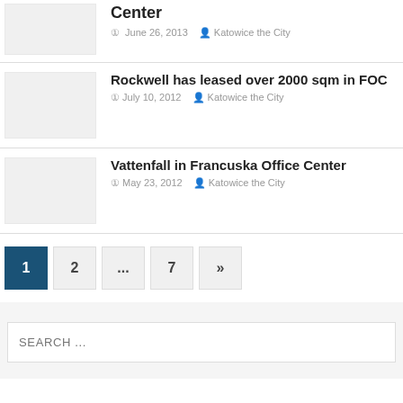Center
June 26, 2013   Katowice the City
Rockwell has leased over 2000 sqm in FOC
July 10, 2012   Katowice the City
Vattenfall in Francuska Office Center
May 23, 2012   Katowice the City
1 2 ... 7 »